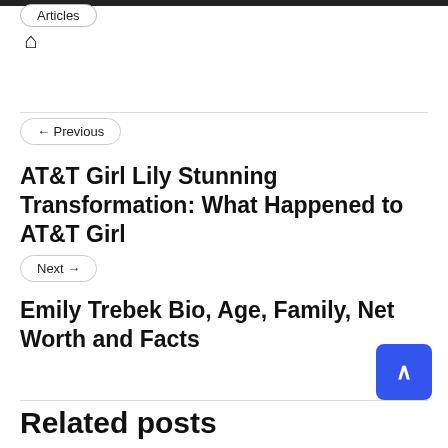🏠
← Previous
AT&T Girl Lily Stunning Transformation: What Happened to AT&T Girl
Next →
Emily Trebek Bio, Age, Family, Net Worth and Facts
Related posts